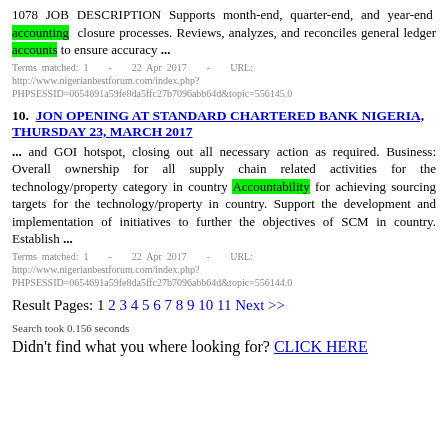1078  JOB  DESCRIPTION  Supports  month-end,  quarter-end,  and  year-end  accounting  closure processes. Reviews, analyzes, and reconciles general ledger accounts to ensure accuracy ...
Terms matched: 1 - 22 Apr 2017 - URL: http://www.nigerianbestforum.com/index.php?PHPSESSID=0654691a59fe8da5ffc27b7096abb64d&topic=556145.0
10.  JON OPENING AT STANDARD CHARTERED BANK NIGERIA, THURSDAY 23, MARCH 2017
... and GOI hotspot, closing out all necessary action as required. Business: Overall ownership for all supply chain related activities for the technology/property category in country Accountability for achieving sourcing targets for the technology/property in country. Support the development and implementation of initiatives to further the objectives of SCM in country. Establish ...
Terms matched: 1 - 22 Apr 2017 - URL: http://www.nigerianbestforum.com/index.php?PHPSESSID=0654691a59fe8da5ffc27b7096abb64d&topic=556144.0
Result Pages: 1 2 3 4 5 6 7 8 9 10 11 Next >>
Search took 0.156 seconds
Didn't find what you where looking for? CLICK HERE